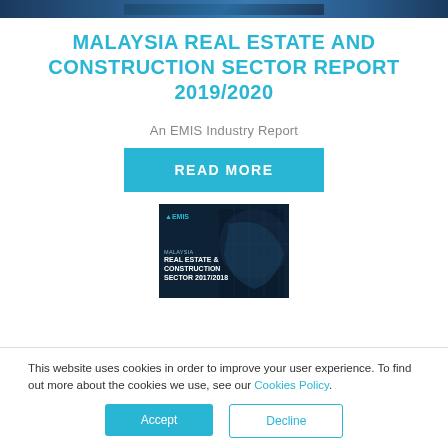[Figure (photo): Top banner image of a building/construction scene]
MALAYSIA REAL ESTATE AND CONSTRUCTION SECTOR REPORT 2019/2020
An EMIS Industry Report
READ MORE
[Figure (photo): Cover image of Malaysia Real Estate & Construction Sector 2017/2018 EMIS report with dark background and futuristic building imagery]
This website uses cookies in order to improve your user experience. To find out more about the cookies we use, see our Cookies Policy.
Accept
Decline